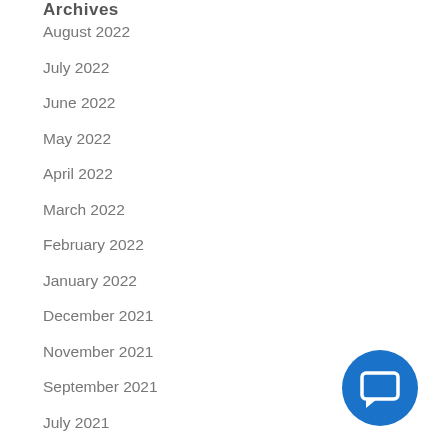Archives
August 2022
July 2022
June 2022
May 2022
April 2022
March 2022
February 2022
January 2022
December 2021
November 2021
September 2021
July 2021
June 2021
May 2021
[Figure (illustration): Blue circle button with a chat/message icon in white]